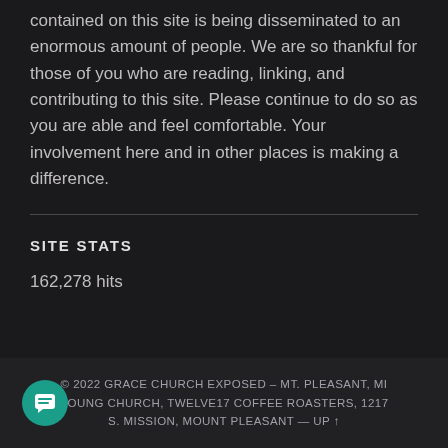contained on this site is being disseminated to an enormous amount of people. We are so thankful for those of you who are reading, linking, and contributing to this site. Please continue to do so as you are able and feel comfortable. Your involvement here and in other places is making a difference.
SITE STATS
162,278 hits
© 2022 GRACE CHURCH EXPOSED – MT. PLEASANT, MI YOUNG CHURCH, TWELVE17 COFFEE ROASTERS, 1217 S. MISSION, MOUNT PLEASANT — UP ↑